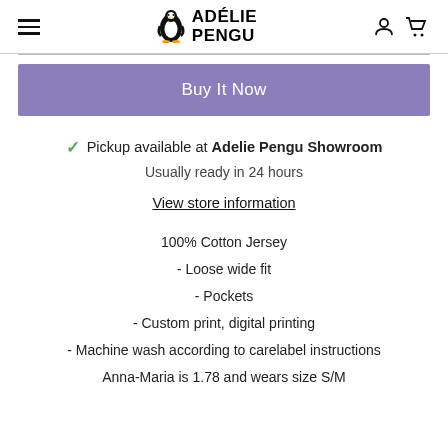Adélie Pengu
Buy It Now
✓ Pickup available at Adelie Pengu Showroom
Usually ready in 24 hours
View store information
100% Cotton Jersey
- Loose wide fit
- Pockets
- Custom print, digital printing
- Machine wash according to carelabel instructions
Anna-Maria is 1.78 and wears size S/M